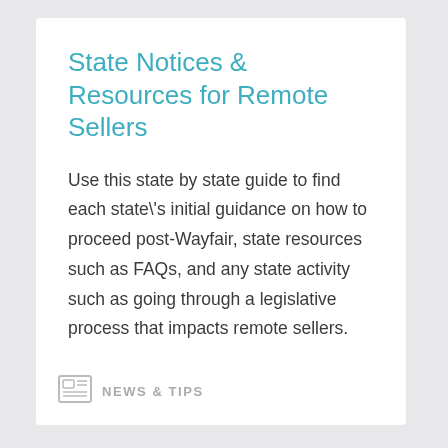State Notices & Resources for Remote Sellers
Use this state by state guide to find each state's initial guidance on how to proceed post-Wayfair, state resources such as FAQs, and any state activity such as going through a legislative process that impacts remote sellers.
NEWS & TIPS